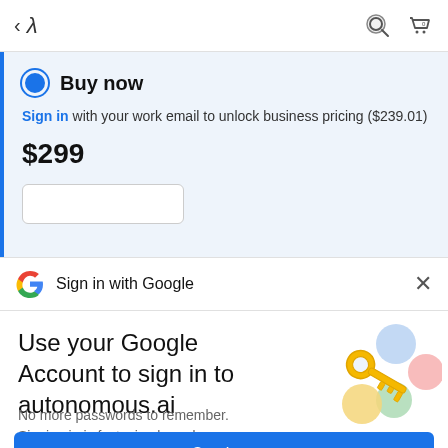< λ
Buy now
Sign in with your work email to unlock business pricing ($239.01)
$299
Sign in with Google
Use your Google Account to sign in to autonomous.ai
No more passwords to remember. Signing in is fast, simple and secure.
[Figure (illustration): Google key illustration with colorful circles and a golden key]
Continue